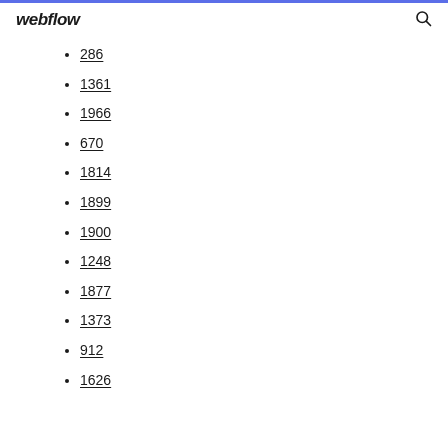webflow
286
1361
1966
670
1814
1899
1900
1248
1877
1373
912
1626